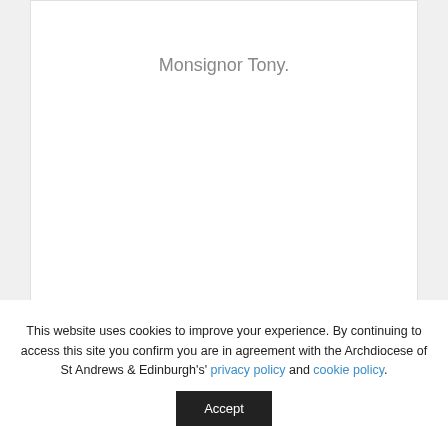Monsignor Tony.
This website uses cookies to improve your experience. By continuing to access this site you confirm you are in agreement with the Archdiocese of St Andrews & Edinburgh's' privacy policy and cookie policy.